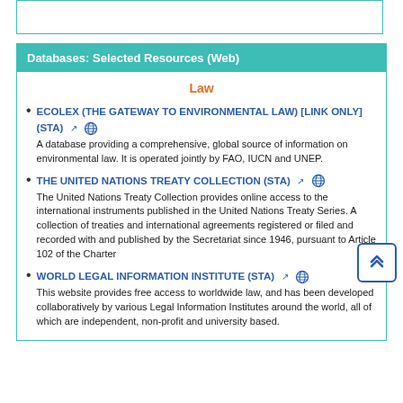Databases: Selected Resources (Web)
Law
ECOLEX (THE GATEWAY TO ENVIRONMENTAL LAW) [LINK ONLY] (STA) — A database providing a comprehensive, global source of information on environmental law. It is operated jointly by FAO, IUCN and UNEP.
THE UNITED NATIONS TREATY COLLECTION (STA) — The United Nations Treaty Collection provides online access to the international instruments published in the United Nations Treaty Series. A collection of treaties and international agreements registered or filed and recorded with and published by the Secretariat since 1946, pursuant to Article 102 of the Charter
WORLD LEGAL INFORMATION INSTITUTE (STA) — This website provides free access to worldwide law, and has been developed collaboratively by various Legal Information Institutes around the world, all of which are independent, non-profit and university based.